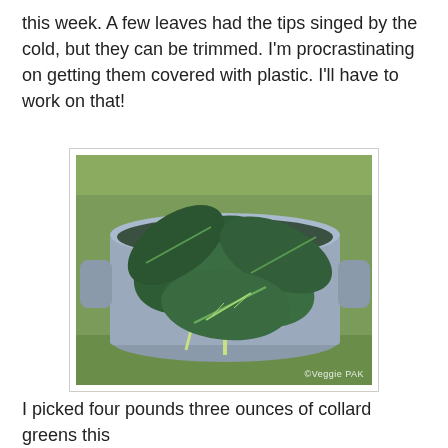this week. A few leaves had the tips singed by the cold, but they can be trimmed. I'm procrastinating on getting them covered with plastic. I'll have to work on that!
[Figure (photo): A metal pot or colander with two handles filled with large dark green collard green leaves, sitting on grass. Watermark reads ©Veggie PAK.]
I picked four pounds three ounces of collard greens this